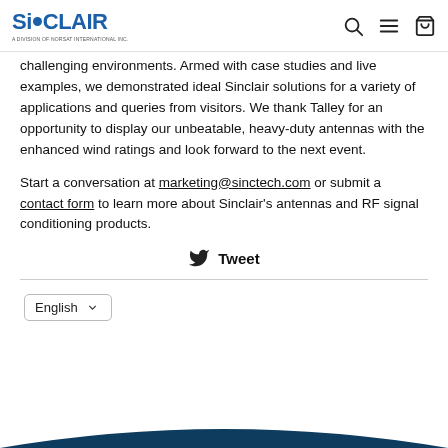Sinclair — a division of Norsat International Inc. [navigation icons: search, menu, cart]
challenging environments. Armed with case studies and live examples, we demonstrated ideal Sinclair solutions for a variety of applications and queries from visitors. We thank Talley for an opportunity to display our unbeatable, heavy-duty antennas with the enhanced wind ratings and look forward to the next event.
Start a conversation at marketing@sinctech.com or submit a contact form to learn more about Sinclair's antennas and RF signal conditioning products.
Tweet
English